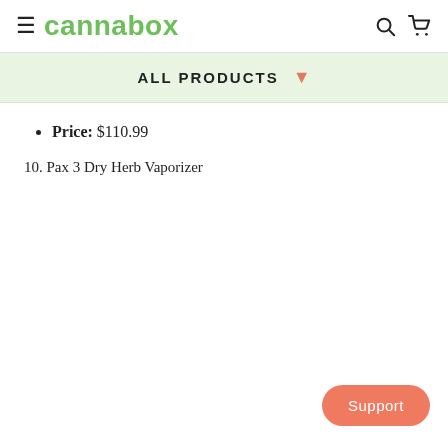cannabox
ALL PRODUCTS
Price: $110.99
10. Pax 3 Dry Herb Vaporizer